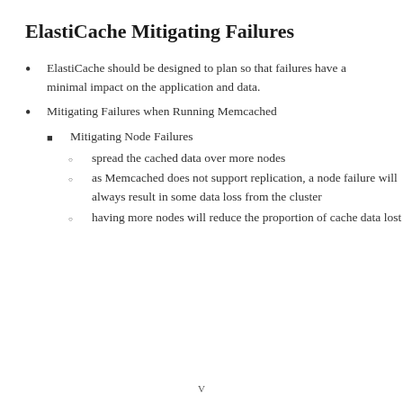ElastiCache Mitigating Failures
ElastiCache should be designed to plan so that failures have a minimal impact on the application and data.
Mitigating Failures when Running Memcached
Mitigating Node Failures
spread the cached data over more nodes
as Memcached does not support replication, a node failure will always result in some data loss from the cluster
having more nodes will reduce the proportion of cache data lost
V